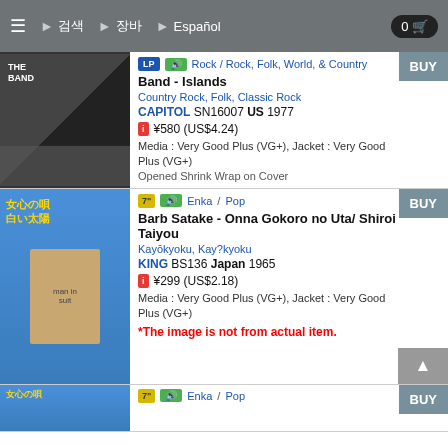≡  ▶ 검색  ▶ 장바구니  ▶ Español  0 🛒
LP  🔊  Rock / Rock, Folk, World, & Country
Band - Islands
Country Rock, Folk, Classic Rock
CAPITOL SN16007 US 1977
¥580 (US$4.24)
Media : Very Good Plus (VG+), Jacket : Very Good Plus (VG+)
Opened Shrink Wrap on Cover
7"  🔊  Enka / Pop
Barb Satake - Onna Gokoro no Uta/ Shiroi Taiyou
Kayōkyoku, Kay?kyoku
KING BS136 Japan 1965
¥299 (US$2.18)
Media : Very Good Plus (VG+), Jacket : Very Good Plus (VG+)
*The image is not from actual item.
7"  🔊  Enka / Pop